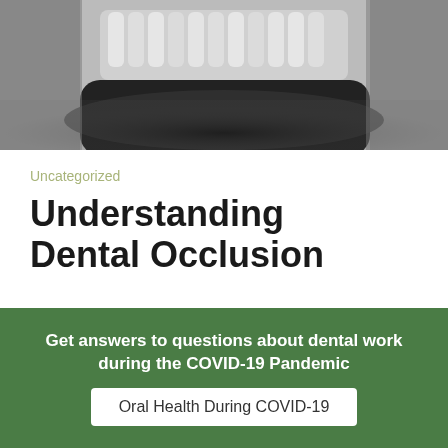[Figure (photo): Black and white dental X-ray panoramic image showing teeth and jaw structure]
Uncategorized
Understanding Dental Occlusion
[Figure (photo): Circular portrait photo of a smiling woman with curly red hair, overlaid on a gray silhouette background. Advertisement for Request a FREE Video Consult Today. Get all your questions answered in three easy steps!]
Request a FREE Video Consult Today
Get all your questions answered in three easy steps!
Get answers to questions about dental work during the COVID-19 Pandemic
Oral Health During COVID-19